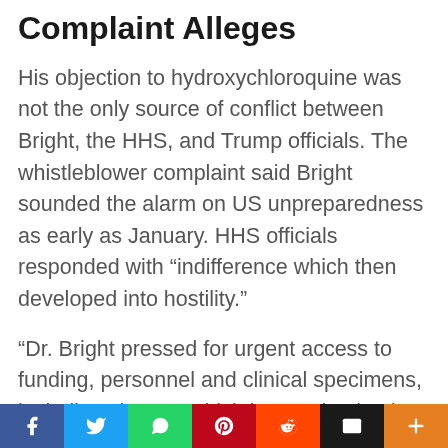Complaint Alleges
His objection to hydroxychloroquine was not the only source of conflict between Bright, the HHS, and Trump officials. The whistleblower complaint said Bright sounded the alarm on US unpreparedness as early as January. HHS officials responded with “indifference which then developed into hostility.”
“Dr. Bright pressed for urgent access to funding, personnel and clinical specimens, including viruses, which he emphasized were all critically necessary to begin development of lifesaving medicines needed in the likely event that the virus spread outside of Southeast Asia. Secretary Azar and Dr. Kadlec
[Figure (other): Social media share bar with buttons for Facebook, Twitter, WhatsApp, Pinterest, Reddit, Email, and a plus/more button]